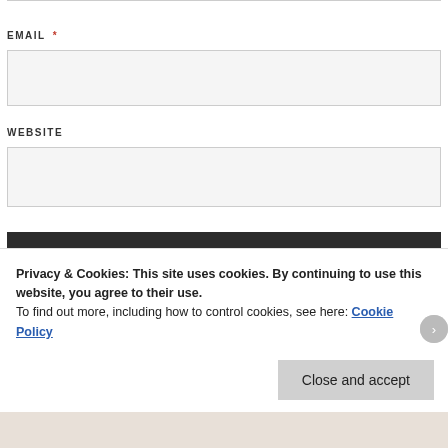EMAIL *
WEBSITE
POST COMMENT
Notify me of new comments via email.
Notify me of new posts via email.
Privacy & Cookies: This site uses cookies. By continuing to use this website, you agree to their use.
To find out more, including how to control cookies, see here: Cookie Policy
Close and accept